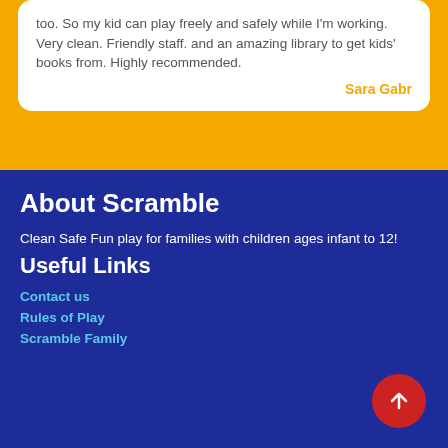too. So my kid can play freely and safely while I'm working. Very clean. Friendly staff. and an amazing library to get kids' books from. Highly recommended.
Sara Gabr
About Scramble
Clean Safe Fun play for families with children ages infant to 12!
Useful Links
Contact us
Rules of Play
Scramble Family
[Figure (other): Red circular scroll-to-top button with white upward arrow]